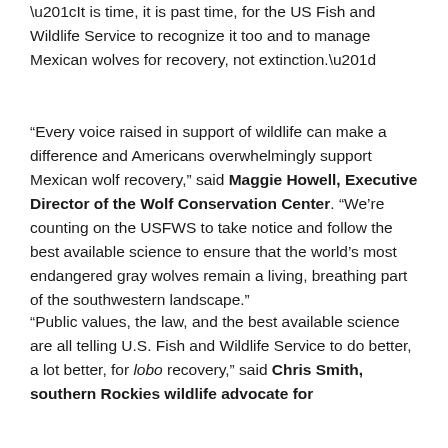“It is time, it is past time, for the US Fish and Wildlife Service to recognize it too and to manage Mexican wolves for recovery, not extinction.”
“Every voice raised in support of wildlife can make a difference and Americans overwhelmingly support Mexican wolf recovery,” said Maggie Howell, Executive Director of the Wolf Conservation Center. “We’re counting on the USFWS to take notice and follow the best available science to ensure that the world’s most endangered gray wolves remain a living, breathing part of the southwestern landscape.”
“Public values, the law, and the best available science are all telling U.S. Fish and Wildlife Service to do better, a lot better, for lobo recovery,” said Chris Smith, southern Rockies wildlife advocate for